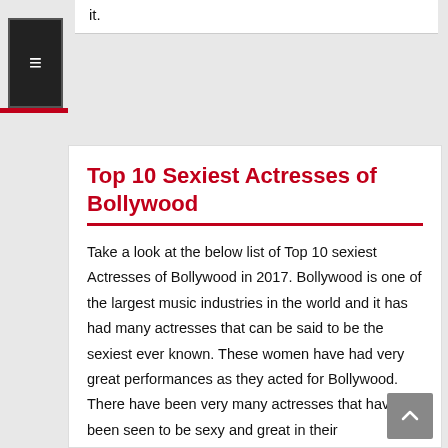it.
Top 10 Sexiest Actresses of Bollywood
Take a look at the below list of Top 10 sexiest Actresses of Bollywood in 2017. Bollywood is one of the largest music industries in the world and it has had many actresses that can be said to be the sexiest ever known. These women have had very great performances as they acted for Bollywood. There have been very many actresses that have been seen to be sexy and great in their performances. Many people have turned their attention to watching the Bollywood movies because of the high quality performances that is